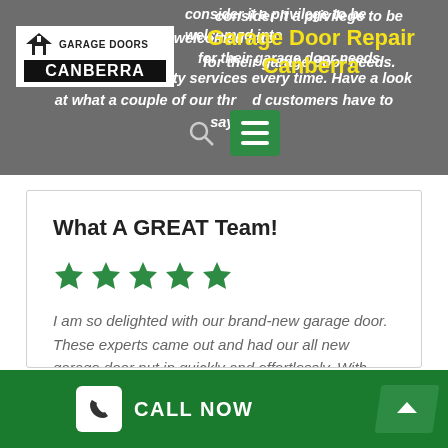[Figure (screenshot): Website header banner for Garage Door Repair Canberra with logo, navigation icons, and italic white bold text on grey background]
Garage Door Repair Canberra
Our people consider it a privilege to be welcomed into their customers' homes and trusted for their garage door needs. We deliver top quality services every time. Have a look at what a couple of our thrilled customers have to say.
What A GREAT Team!
★★★★★
I am so delighted with our brand-new garage door. These experts came out and had our all new garage door put in quickly and effortlessly. With exceptional prices and expert service, I am
CALL NOW